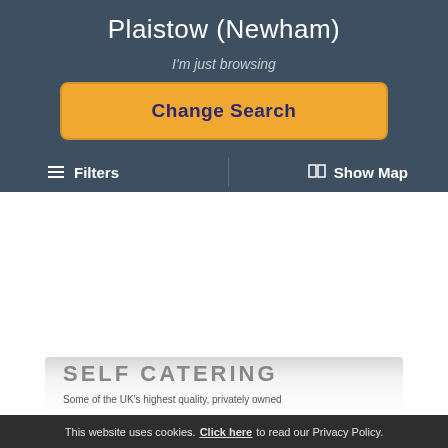Plaistow (Newham)
I'm just browsing
Change Search
≡  Filters
Show Map
SELF CATERING
Some of the UK's highest quality, privately owned
This website uses cookies. Click here to read our Privacy Policy.